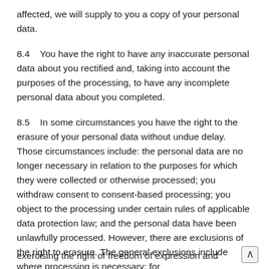affected, we will supply to you a copy of your personal data.
8.4    You have the right to have any inaccurate personal data about you rectified and, taking into account the purposes of the processing, to have any incomplete personal data about you completed.
8.5    In some circumstances you have the right to the erasure of your personal data without undue delay. Those circumstances include: the personal data are no longer necessary in relation to the purposes for which they were collected or otherwise processed; you withdraw consent to consent-based processing; you object to the processing under certain rules of applicable data protection law; and the personal data have been unlawfully processed. However, there are exclusions of the right to erasure. The general exclusions include where processing is necessary: for exercising the right of freedom of expression and